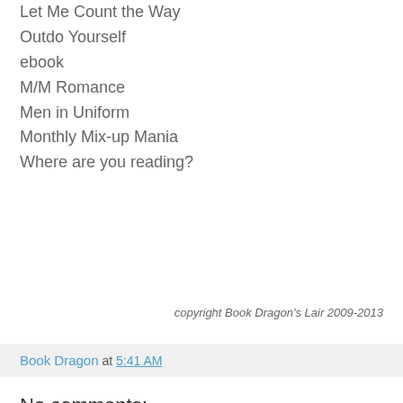Let Me Count the Way
Outdo Yourself
ebook
M/M Romance
Men in Uniform
Monthly Mix-up Mania
Where are you reading?
copyright Book Dragon's Lair 2009-2013
Book Dragon at 5:41 AM
No comments:
Post a Comment
Thank you!
I have no idea why the captcha thing is showing up. I've got the setting marked "no" that I don't want it. Grrrrrl! But, I believe that if you skip